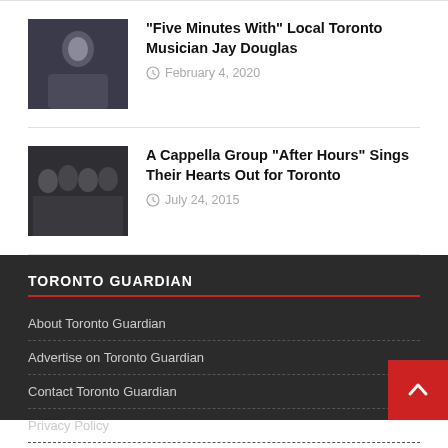[Figure (photo): Photo of Jay Douglas, a musician, shown in a dark setting]
“Five Minutes With” Local Toronto Musician Jay Douglas
February 4, 2020
[Figure (photo): Black and white photo of A Cappella group After Hours]
A Cappella Group “After Hours” Sings Their Hearts Out for Toronto
July 24, 2015
TORONTO GUARDIAN
About Toronto Guardian
Advertise on Toronto Guardian
Contact Toronto Guardian
Privacy Policy